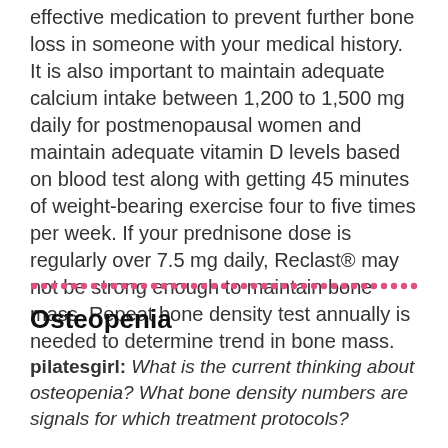effective medication to prevent further bone loss in someone with your medical history. It is also important to maintain adequate calcium intake between 1,200 to 1,500 mg daily for postmenopausal women and maintain adequate vitamin D levels based on blood test along with getting 45 minutes of weight-bearing exercise four to five times per week. If your prednisone dose is regularly over 7.5 mg daily, Reclast® may not be strong enough to maintain bone mass. Repeat bone density test annually is needed to determine trend in bone mass.
Osteopenia
pilatesgirl: What is the current thinking about osteopenia? What bone density numbers are signals for which treatment protocols?